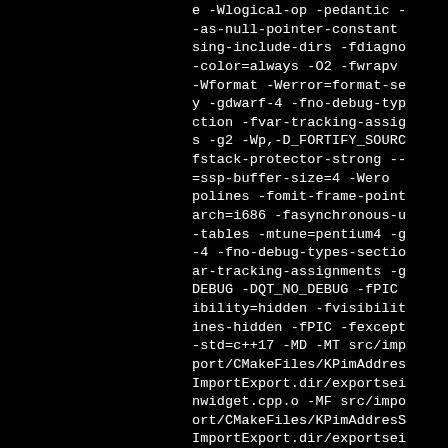e -Wlogical-op -pedantic -as-null-pointer-constant sing-include-dirs -fdiagno-color=always -O2 -fwrapv -Wformat -Werror=format-se y -gdwarf-4 -fno-debug-typ ction -fvar-tracking-assig s -g2 -Wp,-D_FORTIFY_SOUR fstack-protector-strong -- =ssp-buffer-size=4 -Werro polines -fomit-frame-point arch=i686 -fasynchronous-u -tables -mtune=pentium4 -g -4 -fno-debug-types-sectio ar-tracking-assignments -g DEBUG -DQT_NO_DEBUG -fPIC ibility=hidden -fvisibili ines-hidden -fPIC -fexcep -std=c++17 -MD -MT src/imp port/CMakeFiles/KPimAddres ImportExport.dir/exportse nwidget.cpp.o -MF src/impo ort/CMakeFiles/KPimAddress ImportExport.dir/exportse